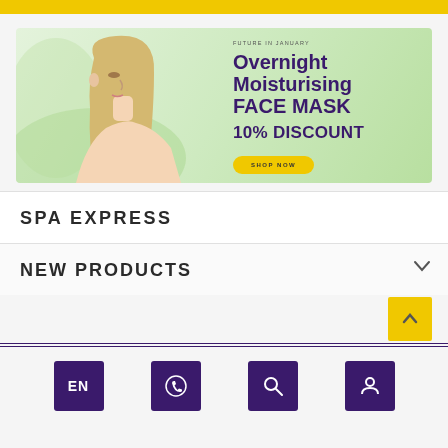[Figure (screenshot): Top yellow navigation bar]
[Figure (illustration): Beauty product banner with woman's profile and text: FUTURE IN JANUARY, Overnight Moisturising FACE MASK, 10% DISCOUNT, SHOP NOW button]
SPA EXPRESS
NEW PRODUCTS
[Figure (screenshot): Bottom navigation bar with four purple icon buttons: EN (language), phone/contact, search, and user/account]
[Figure (other): Yellow scroll-to-top button with upward chevron arrow]